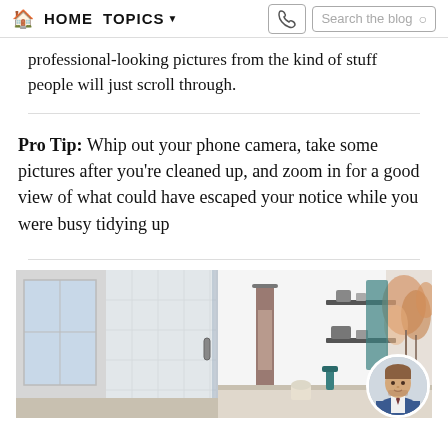HOME  TOPICS  Search the blog
professional-looking pictures from the kind of stuff people will just scroll through.
Pro Tip: Whip out your phone camera, take some pictures after you're cleaned up, and zoom in for a good view of what could have escaped your notice while you were busy tidying up
[Figure (photo): Bathroom interior showing a glass shower enclosure on the left with white tiled walls and a window, a towel rack in the center, and floating shelves on the right wall with decorative items. A floral arrangement is visible on the far right, and a circular avatar photo of a man in a blue suit is overlaid in the bottom right corner.]